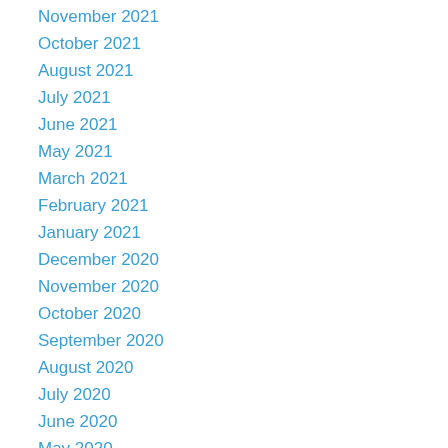November 2021
October 2021
August 2021
July 2021
June 2021
May 2021
March 2021
February 2021
January 2021
December 2020
November 2020
October 2020
September 2020
August 2020
July 2020
June 2020
May 2020
April 2020
March 2020
February 2020